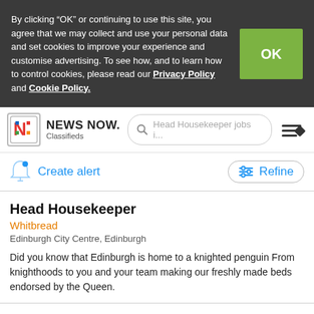By clicking “OK” or continuing to use this site, you agree that we may collect and use your personal data and set cookies to improve your experience and customise advertising. To see how, and to learn how to control cookies, please read our Privacy Policy and Cookie Policy.
NEWS NOW. Classifieds — Head Housekeeper jobs i...
Create alert
Refine
Head Housekeeper
Whitbread
Edinburgh City Centre, Edinburgh
Did you know that Edinburgh is home to a knighted penguin From knighthoods to you and your team making our freshly made beds endorsed by the Queen.
Head Housekeeper
Native
Edinburgh City Centre, Edinburgh
Hello there, If you’re looking at our ad for Head Housekeeper youd probably like to spread your wings and do something a little bit different. At Native